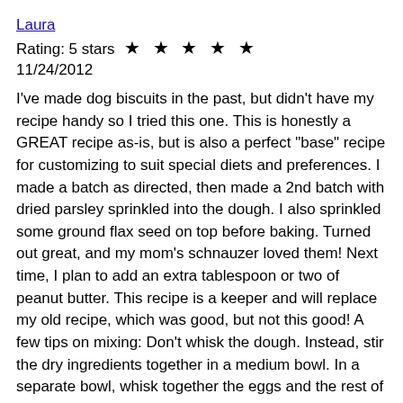Laura
Rating: 5 stars ★★★★★
11/24/2012
I've made dog biscuits in the past, but didn't have my recipe handy so I tried this one. This is honestly a GREAT recipe as-is, but is also a perfect "base" recipe for customizing to suit special diets and preferences. I made a batch as directed, then made a 2nd batch with dried parsley sprinkled into the dough. I also sprinkled some ground flax seed on top before baking. Turned out great, and my mom's schnauzer loved them! Next time, I plan to add an extra tablespoon or two of peanut butter. This recipe is a keeper and will replace my old recipe, which was good, but not this good! A few tips on mixing: Don't whisk the dough. Instead, stir the dry ingredients together in a medium bowl. In a separate bowl, whisk together the eggs and the rest of the wet ingredients. Then stir the wet into the dry. Knead to thoroughly mix before rolling out. Don't add water except as an absolute last resort, because it'll ruin the crunch factor. You want this to be a very dry dough that can be kneaded, rolled-out and cut without sticking to anything. If it sticks, add more flour. Leftover pieces can be rolled into snake-shapes and cut into small kibbles for snacks and baked on the same